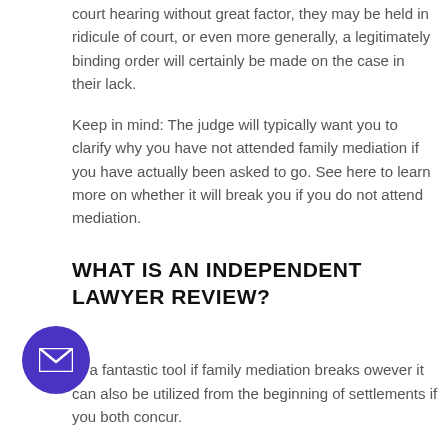court hearing without great factor, they may be held in ridicule of court, or even more generally, a legitimately binding order will certainly be made on the case in their lack.
Keep in mind: The judge will typically want you to clarify why you have not attended family mediation if you have actually been asked to go. See here to learn more on whether it will break you if you do not attend mediation.
WHAT IS AN INDEPENDENT LAWYER REVIEW?
re a fantastic tool if family mediation breaks owever it can also be utilized from the beginning of settlements if you both concur.